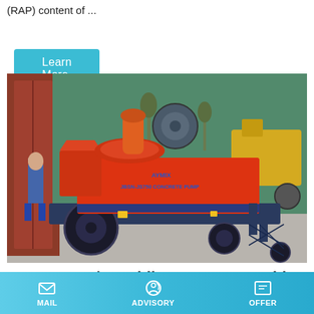(RAP) content of ...
Learn More
[Figure (photo): Red mobile concrete batching plant / concrete pump being loaded into a shipping container. The machine is red with dark blue frame and wheels, labeled 'JBSN-JS750 CONCRETE PUMP'. A worker in blue is visible on the left, and a yellow construction loader is visible in the background.]
Hzs75 75m3/H Mobile Concrete Batching Plant For Sale
MAIL   ADVISORY   OFFER